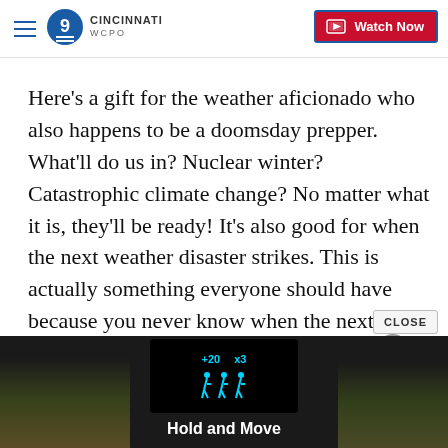WCPO 9 CINCINNATI | Watch Now
Here's a gift for the weather aficionado who also happens to be a doomsday prepper. What'll do us in? Nuclear winter? Catastrophic climate change? No matter what it is, they'll be ready! It's also good for when the next weather disaster strikes. This is actually something everyone should have because you never know when the next big tornado, hurricane or other weather catastrophe is coming.
[Figure (screenshot): Advertisement banner showing a dark screen with blue icons and 'Hold and Move' text, with trees visible on either side]